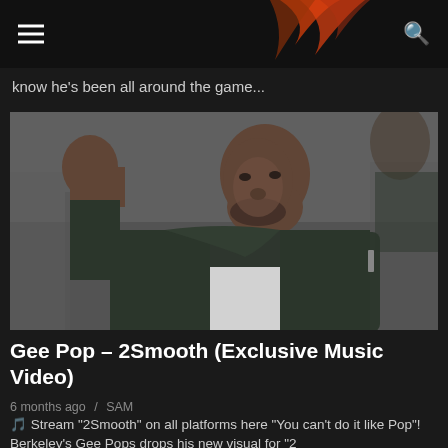THIZZLER
know he's been all around the game...
[Figure (photo): A man in a dark puffer jacket looking upward outdoors, in a black and white or desaturated style]
Gee Pop – 2Smooth (Exclusive Music Video)
6 months ago / SAM
🎵 Stream "2Smooth" on all platforms here "You can't do it like Pop"! Berkeley's Gee Pops drops his new visual for "2